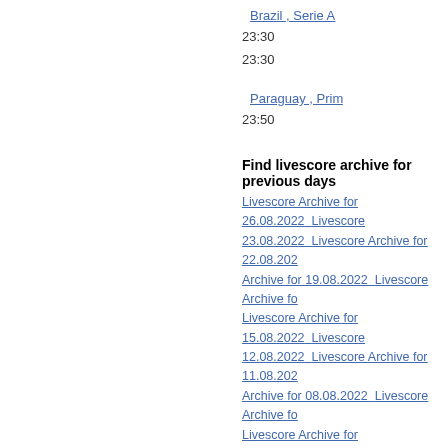Brazil , Serie A
23:30
23:30
Paraguay , Pri...
23:50
Find livescore archive for previous days
Livescore Archive for 26.08.2022  Livescore... 23.08.2022  Livescore Archive for 22.08.202... Archive for 19.08.2022  Livescore Archive fo... Livescore Archive for 15.08.2022  Livescore... 12.08.2022  Livescore Archive for 11.08.202... Archive for 08.08.2022  Livescore Archive fo... Livescore Archive for 04.08.2022  Livescore... 01.08.2022 Livescore Archive for 31.07.2022  Livescore... 28.07.2022  Livescore Archive for 27.07.202... Archive for 24.07.2022  Livescore Archive fo... Livescore Archive for 20.07.2022  Livescore... 17.07.2022  Livescore Archive for 16.07.202... Archive for 13.07.2022  Livescore Archive fo... Livescore Archive for 09.07.2022  Livescore...